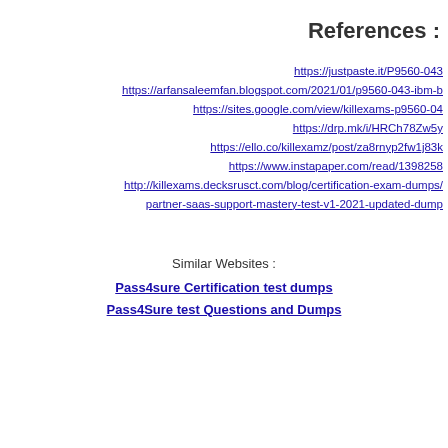References :
https://justpaste.it/P9560-043
https://arfansaleemfan.blogspot.com/2021/01/p9560-043-ibm-b
https://sites.google.com/view/killexams-p9560-04
https://drp.mk/i/HRCh78Zw5y
https://ello.co/killexamz/post/za8rnyp2fw1j83k
https://www.instapaper.com/read/1398258
http://killexams.decksrusct.com/blog/certification-exam-dumps/
partner-saas-support-mastery-test-v1-2021-updated-dump
Similar Websites :
Pass4sure Certification test dumps
Pass4Sure test Questions and Dumps